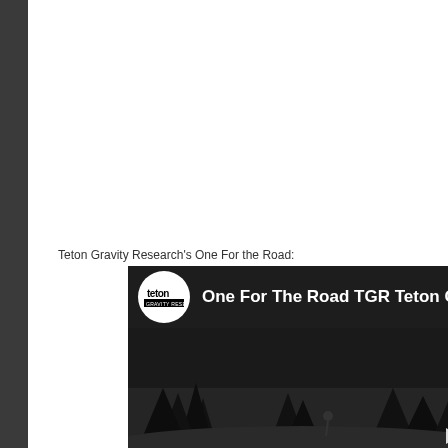Teton Gravity Research's One For the Road:
[Figure (screenshot): YouTube video thumbnail/embed showing 'One For The Road TGR Teton Gravity Rese...' with Teton Gravity Research logo (white circle with black teton text) and a dark winter ski scene background with a play button visible in the bottom right.]